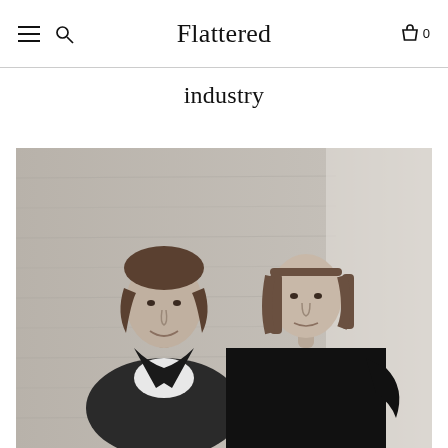Flattered
industry
[Figure (photo): Black and white photograph of two people standing in front of a wood-paneled wall. On the left is a man with medium-length hair wearing a dark jacket over a white t-shirt, smiling. On the right is a woman with straight shoulder-length hair wearing a black sweater, with one hand on her hip.]